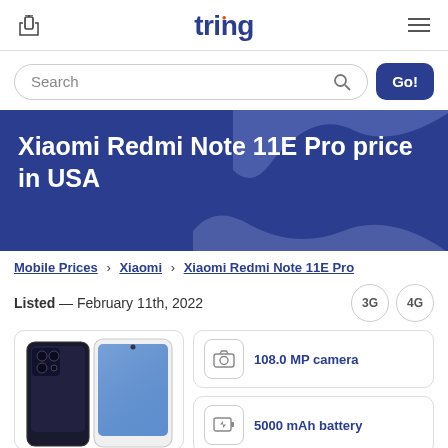tring
Search
Xiaomi Redmi Note 11E Pro price in USA
Mobile Prices › Xiaomi › Xiaomi Redmi Note 11E Pro
Listed — February 11th, 2022
3G  4G
[Figure (photo): Xiaomi Redmi Note 11E Pro smartphone image showing front and back views]
108.0 MP camera
5000 mAh battery